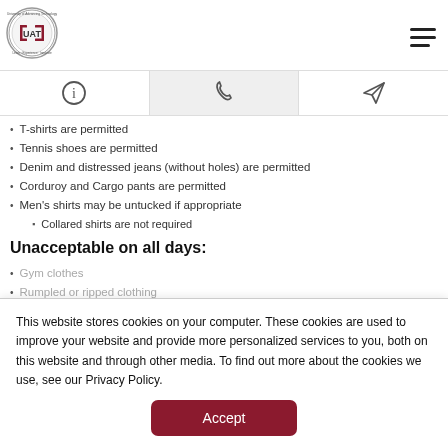[Figure (logo): University of Advancing Technology (UAT) circular logo with red and grey design]
[Figure (other): Hamburger menu icon (three horizontal lines)]
[Figure (other): Tab bar with info (i) icon, phone/handset icon (active/highlighted tab), and send/paper-plane icon]
T-shirts are permitted
Tennis shoes are permitted
Denim and distressed jeans (without holes) are permitted
Corduroy and Cargo pants are permitted
Men's shirts may be untucked if appropriate
Collared shirts are not required
Unacceptable on all days:
Gym clothes
Rumpled or ripped clothing
This website stores cookies on your computer. These cookies are used to improve your website and provide more personalized services to you, both on this website and through other media. To find out more about the cookies we use, see our Privacy Policy.
Accept